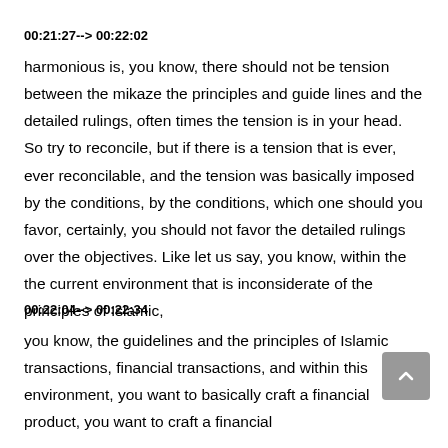00:21:27--> 00:22:02
harmonious is, you know, there should not be tension between the mikaze the principles and guide lines and the detailed rulings, often times the tension is in your head. So try to reconcile, but if there is a tension that is ever, ever reconcilable, and the tension was basically imposed by the conditions, by the conditions, which one should you favor, certainly, you should not favor the detailed rulings over the objectives. Like let us say, you know, within the the current environment that is inconsiderate of the principles of Islamic,
00:22:04--> 00:22:34
you know, the guidelines and the principles of Islamic transactions, financial transactions, and within this environment, you want to basically craft a financial product, you want to craft a financial